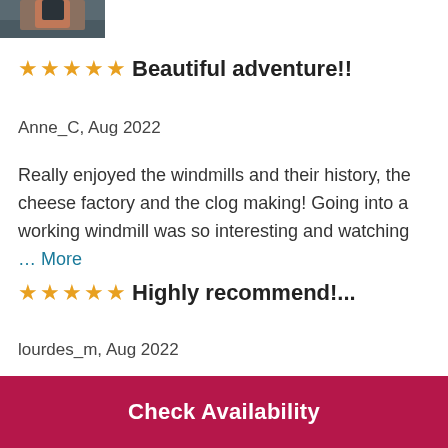[Figure (photo): Partial photo of a person standing near water, cropped at top of page]
Beautiful adventure!!
Anne_C, Aug 2022
Really enjoyed the windmills and their history, the cheese factory and the clog making! Going into a working windmill was so interesting and watching … More
Highly recommend!...
lourdes_m, Aug 2022
Highly recommend! Beautiful village! We were
Check Availability